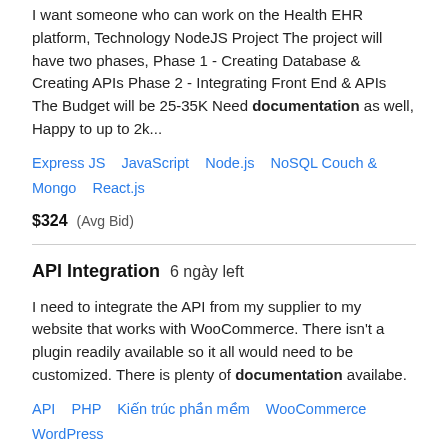I want someone who can work on the Health EHR platform, Technology NodeJS Project The project will have two phases, Phase 1 - Creating Database & Creating APIs Phase 2 - Integrating Front End & APIs The Budget will be 25-35K Need documentation as well, Happy to up to 2k...
Express JS   JavaScript   Node.js   NoSQL Couch & Mongo   React.js
$324  (Avg Bid)
API Integration   6 ngày left
I need to integrate the API from my supplier to my website that works with WooCommerce. There isn't a plugin readily available so it all would need to be customized. There is plenty of documentation availabe.
API   PHP   Kiến trúc phần mềm   WooCommerce   WordPress
$7 / hr  (Avg Bid)